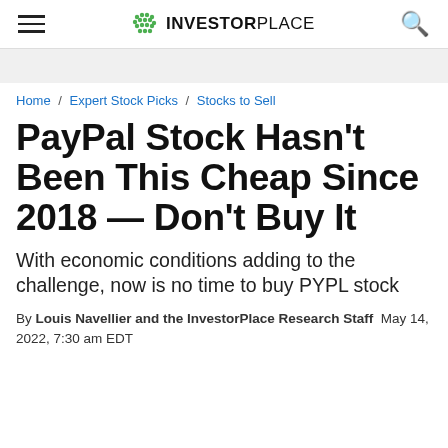INVESTORPLACE
Home / Expert Stock Picks / Stocks to Sell
PayPal Stock Hasn't Been This Cheap Since 2018 — Don't Buy It
With economic conditions adding to the challenge, now is no time to buy PYPL stock
By Louis Navellier and the InvestorPlace Research Staff  May 14, 2022, 7:30 am EDT